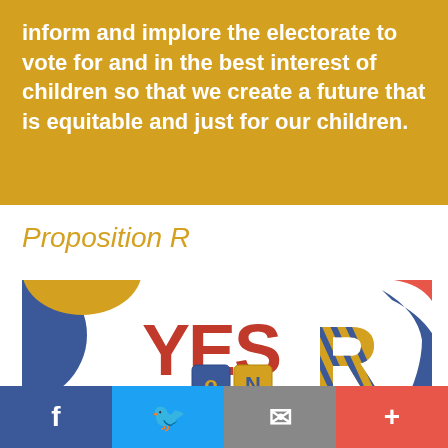inform and implore the electorate to vote for and in the best interest of children so that we create a future that is equitable and just for our children.
Proposition R
[Figure (illustration): Yes on R campaign logo with colorful abstract shapes and toy blocks spelling YES on R]
Social share bar with Facebook, Twitter, Email, and + buttons